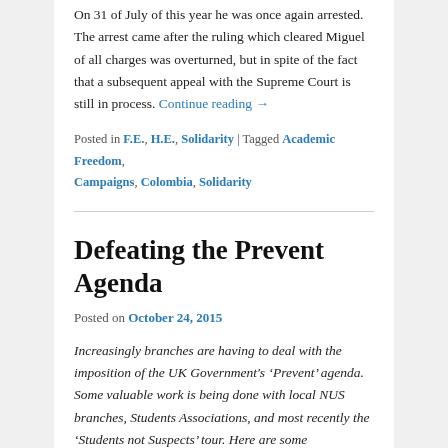On 31 of July of this year he was once again arrested. The arrest came after the ruling which cleared Miguel of all charges was overturned, but in spite of the fact that a subsequent appeal with the Supreme Court is still in process. Continue reading →
Posted in F.E., H.E., Solidarity | Tagged Academic Freedom, Campaigns, Colombia, Solidarity
Defeating the Prevent Agenda
Posted on October 24, 2015
Increasingly branches are having to deal with the imposition of the UK Government's 'Prevent' agenda. Some valuable work is being done with local NUS branches, Students Associations, and most recently the 'Students not Suspects' tour. Here are some observations following the recent arrival of the tour in Strathclyde